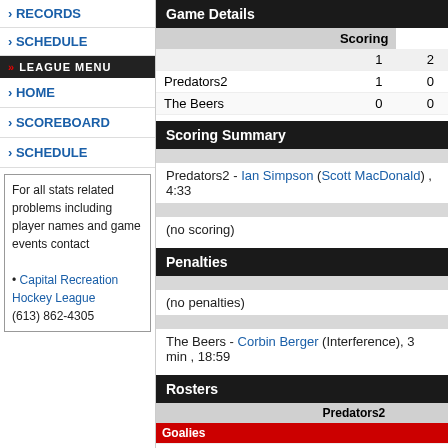RECORDS
SCHEDULE
LEAGUE MENU
HOME
SCOREBOARD
SCHEDULE
For all stats related problems including player names and game events contact
• Capital Recreation Hockey League
(613) 862-4305
Game Details
|  | 1 | 2 |
| --- | --- | --- |
| Predators2 | 1 | 0 |
| The Beers | 0 | 0 |
Scoring Summary
Predators2 - Ian Simpson (Scott MacDonald) , 4:33
(no scoring)
Penalties
(no penalties)
The Beers - Corbin Berger (Interference), 3 min , 18:59
Rosters
|  | Predators2 |
| --- | --- |
Goalies
| Name | Min | Shots |
| --- | --- | --- |
| 1 Jamie Christensen | 44 | no shots re |